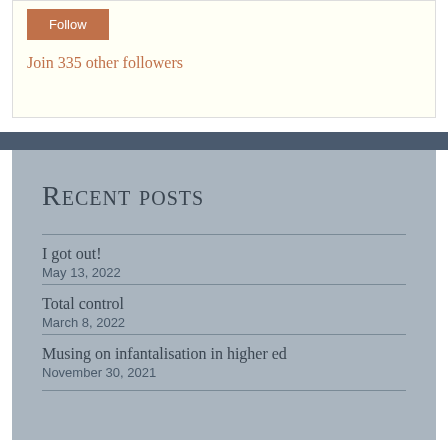[Figure (other): Orange follow button (partially visible)]
Join 335 other followers
Recent posts
I got out!
May 13, 2022
Total control
March 8, 2022
Musing on infantalisation in higher ed
November 30, 2021